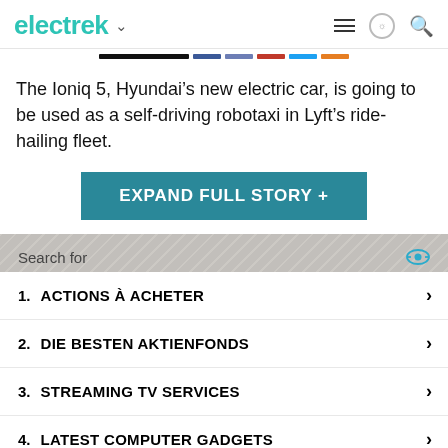electrek
The Ioniq 5, Hyundai’s new electric car, is going to be used as a self-driving robotaxi in Lyft’s ride-hailing fleet.
EXPAND FULL STORY +
Search for
1. ACTIONS À ACHETER
2. DIE BESTEN AKTIENFONDS
3. STREAMING TV SERVICES
4. LATEST COMPUTER GADGETS
5. FREE SOFTWARE DOWNLOADS
Ad | Local